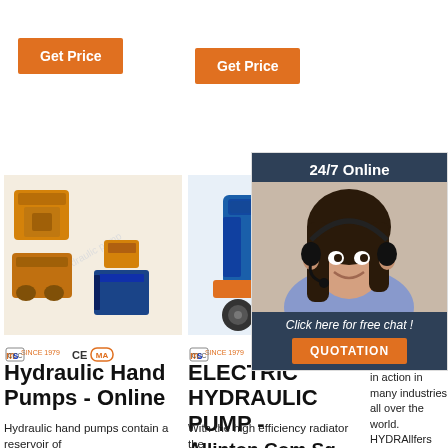[Figure (other): Orange 'Get Price' button for product 1]
[Figure (other): Orange 'Get Price' button for product 2]
[Figure (photo): Hydraulic hand pump product image - orange/yellow machine with blue containers]
[Figure (photo): Electric hydraulic pump product image - blue machine on orange cart with wheels]
[Figure (photo): Third product partial image]
Hydraulic Hand Pumps - Online
ELECTRIC HYDRAULIC PUMP - Allinton.Com.Sg
Hydraulic hand pumps contain a reservoir of
With the high efficiency radiator the
[Figure (infographic): 24/7 Online chat widget overlay with woman wearing headset, dark blue header, 'Click here for free chat!' text, and orange QUOTATION button]